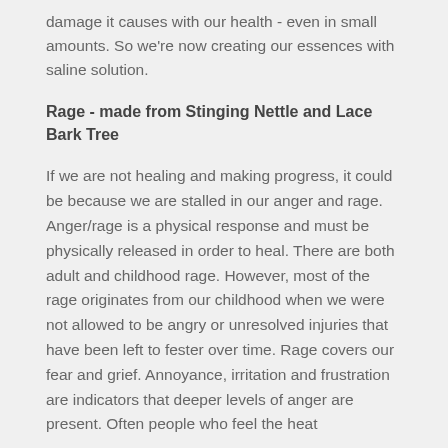damage it causes with our health - even in small amounts. So we're now creating our essences with saline solution.
Rage - made from Stinging Nettle and Lace Bark Tree
If we are not healing and making progress, it could be because we are stalled in our anger and rage. Anger/rage is a physical response and must be physically released in order to heal. There are both adult and childhood rage. However, most of the rage originates from our childhood when we were not allowed to be angry or unresolved injuries that have been left to fester over time. Rage covers our fear and grief. Annoyance, irritation and frustration are indicators that deeper levels of anger are present. Often people who feel the heat